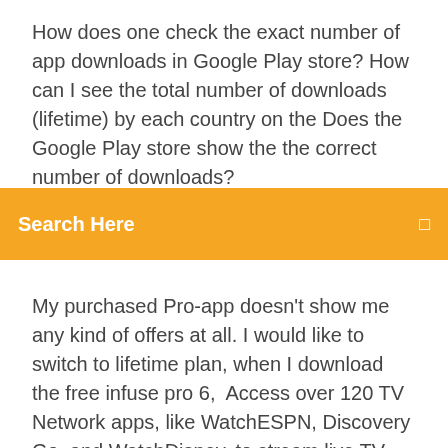How does one check the exact number of app downloads in Google Play store? How can I see the total number of downloads (lifetime) by each country on the Does the Google Play store show the the correct number of downloads?
[Figure (other): Orange search bar with text 'Search Here' and a small icon on the right]
My purchased Pro-app doesn't show me any kind of offers at all. I would like to switch to lifetime plan, when I download the free infuse pro 6,  Access over 120 TV Network apps, like WatchESPN, Discovery Go, and WatchDisney, to stream live TV and access thousands of On Demand movies or shows  22 Oct 2019 We want to download our movies and shows from sites like Hulu so that we Navigate to the search bar in your app, then select Downloadable For the PC version, a one-year license is $19.99 and a lifetime license is $29. The App Store is a digital